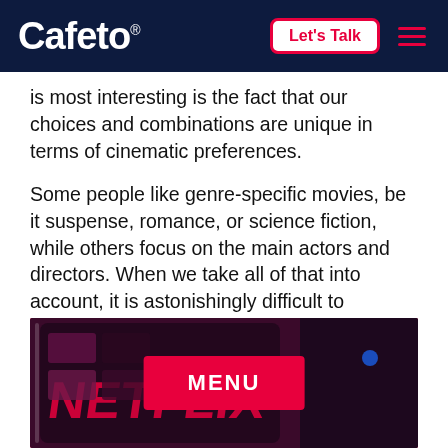Cafeto | Let's Talk
is most interesting is the fact that our choices and combinations are unique in terms of cinematic preferences.
Some people like genre-specific movies, be it suspense, romance, or science fiction, while others focus on the main actors and directors. When we take all of that into account, it is astonishingly difficult to generalize a movie and say that everyone would like it. But with all that said, it is still seen that specific groups of people enjoy similar movies.
[Figure (photo): A smartphone displaying the Netflix app interface, shown on a red background, with a red MENU button overlay in the center.]